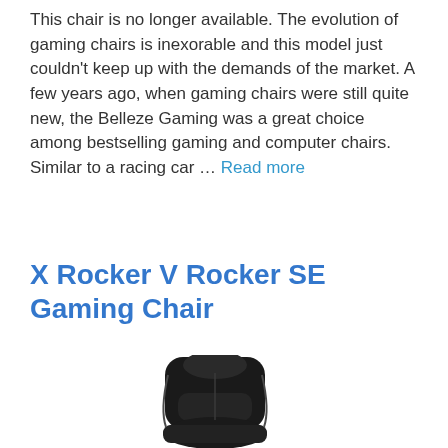This chair is no longer available. The evolution of gaming chairs is inexorable and this model just couldn't keep up with the demands of the market. A few years ago, when gaming chairs were still quite new, the Belleze Gaming was a great choice among bestselling gaming and computer chairs. Similar to a racing car … Read more
X Rocker V Rocker SE Gaming Chair
[Figure (photo): X Rocker V Rocker SE Gaming Chair - black gaming chair viewed from front/side angle, showing headrest and seat cushion]